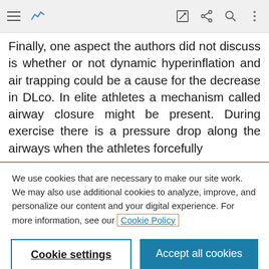[toolbar with hamburger menu, analytics icon, edit icon, share icon, search icon, more options icon]
Finally, one aspect the authors did not discuss is whether or not dynamic hyperinflation and air trapping could be a cause for the decrease in DLco. In elite athletes a mechanism called airway closure might be present. During exercise there is a pressure drop along the airways when the athletes forcefully
We use cookies that are necessary to make our site work. We may also use additional cookies to analyze, improve, and personalize our content and your digital experience. For more information, see our Cookie Policy
Cookie settings
Accept all cookies